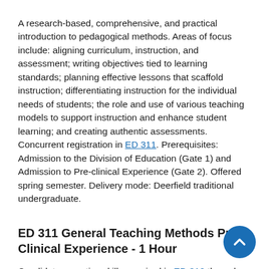A research-based, comprehensive, and practical introduction to pedagogical methods. Areas of focus include: aligning curriculum, instruction, and assessment; writing objectives tied to learning standards; planning effective lessons that scaffold instruction; differentiating instruction for the individual needs of students; the role and use of various teaching models to support instruction and enhance student learning; and creating authentic assessments. Concurrent registration in ED 311. Prerequisites: Admission to the Division of Education (Gate 1) and Admission to Pre-clinical Experience (Gate 2). Offered spring semester. Delivery mode: Deerfield traditional undergraduate.
ED 311 General Teaching Methods Pre-Clinical Experience - 1 Hour
Candidates practice skills acquired in ED 310 through a minimum of 24 hours of supervised, evaluated school experience. Verification of successful completion of field component is required to pass this course. Concurrent registration in ED 310. Prerequisites: Admission to the Division of Education (Gate 1) and Admission to Pre-clinical Experience (Gate 2). Offered spring semester. Delivery mode: Deerfield